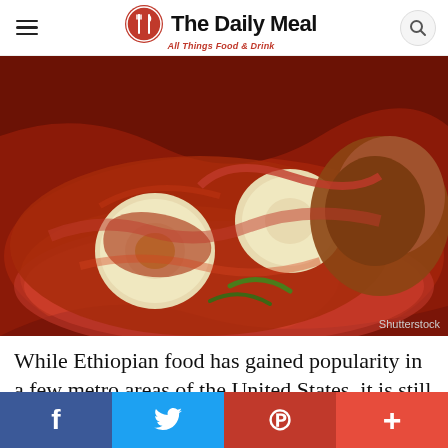The Daily Meal — All Things Food & Drink
[Figure (photo): Ethiopian dish with hard-boiled eggs and chicken in a rich red tomato-based sauce (doro wat) served on a decorative red plate]
Shutterstock
While Ethiopian food has gained popularity in a few metro areas of the United States, it is still largely